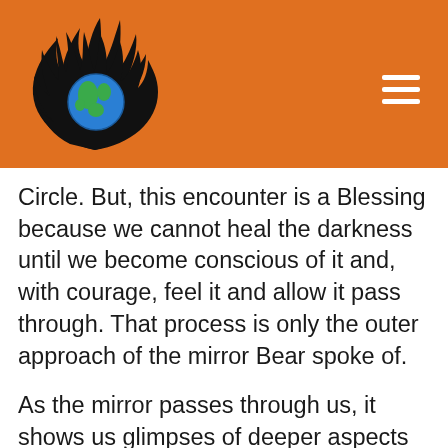[Figure (logo): Black flame with globe (world map in green/blue) at center, on orange background, top left of header]
Circle. But, this encounter is a Blessing because we cannot heal the darkness until we become conscious of it and, with courage, feel it and allow it pass through. That process is only the outer approach of the mirror Bear spoke of.
As the mirror passes through us, it shows us glimpses of deeper aspects of Self including our Heart of Hearts. Even if only